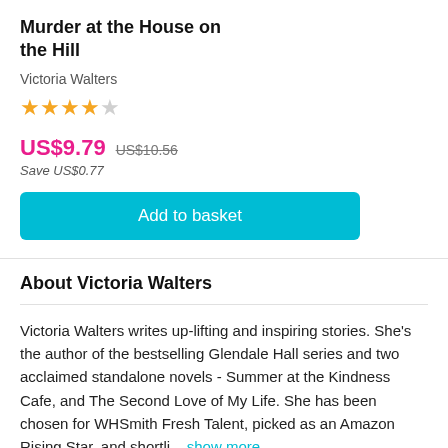Murder at the House on the Hill
Victoria Walters
★★★★☆
US$9.79  US$10.56
Save US$0.77
Add to basket
About Victoria Walters
Victoria Walters writes up-lifting and inspiring stories. She's the author of the bestselling Glendale Hall series and two acclaimed standalone novels - Summer at the Kindness Cafe, and The Second Love of My Life. She has been chosen for WHSmith Fresh Talent, picked as an Amazon Rising Star, and shortli... show more
Rating details
★★★★☆  214 ratings